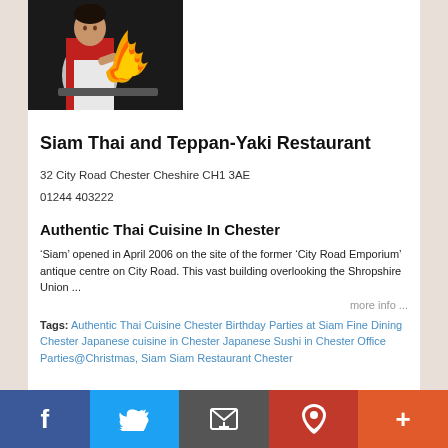[Figure (photo): Chef cooking with flames at a teppan-yaki grill]
Siam Thai and Teppan-Yaki Restaurant
32 City Road Chester Cheshire CH1 3AE
01244 403222
Authentic Thai Cuisine In Chester
‘Siam’ opened in April 2006 on the site of the former ‘City Road Emporium’ antique centre on City Road. This vast building overlooking the Shropshire Union ...
more info ...
Tags: Authentic Thai Cuisine Chester Birthday Parties at Siam Fine Dining Chester Japanese cuisine in Chester Japanese Sushi in Chester Office Parties@Christmas, Siam Siam Restaurant Chester